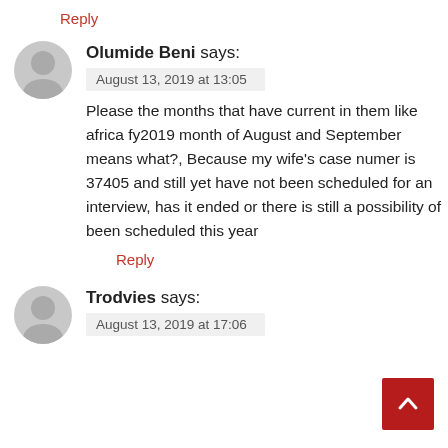Reply
Olumide Beni says:
August 13, 2019 at 13:05
Please the months that have current in them like africa fy2019 month of August and September means what?, Because my wife's case numer is 37405 and still yet have not been scheduled for an interview, has it ended or there is still a possibility of been scheduled this year
Reply
Trodvies says:
August 13, 2019 at 17:06